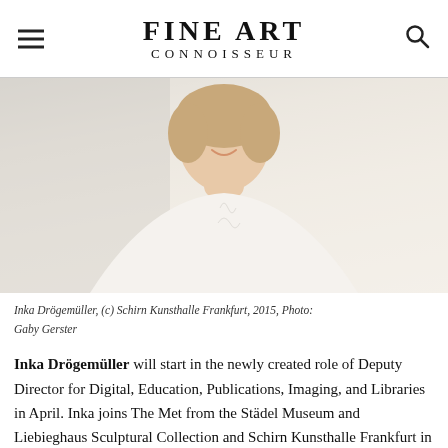FINE ART CONNOISSEUR
[Figure (photo): Portrait photo of Inka Drögemüller, a woman with short blonde hair wearing a white embroidered blouse, smiling, against a light background.]
Inka Drögemüller, (c) Schirn Kunsthalle Frankfurt, 2015, Photo: Gaby Gerster
Inka Drögemüller will start in the newly created role of Deputy Director for Digital, Education, Publications, Imaging, and Libraries in April. Inka joins The Met from the Städel Museum and Liebieghaus Sculptural Collection and Schirn Kunsthalle Frankfurt in Germany, where she